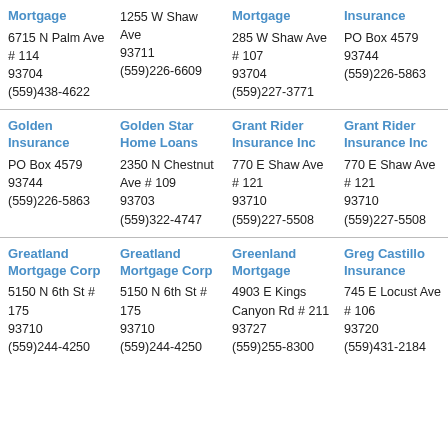Mortgage
6715 N Palm Ave # 114
93704
(559)438-4622
1255 W Shaw Ave
93711
(559)226-6609
Mortgage
285 W Shaw Ave # 107
93704
(559)227-3771
Insurance
PO Box 4579
93744
(559)226-5863
Golden Insurance
PO Box 4579
93744
(559)226-5863
Golden Star Home Loans
2350 N Chestnut Ave # 109
93703
(559)322-4747
Grant Rider Insurance Inc
770 E Shaw Ave # 121
93710
(559)227-5508
Grant Rider Insurance Inc
770 E Shaw Ave # 121
93710
(559)227-5508
Greatland Mortgage Corp
5150 N 6th St # 175
93710
(559)244-4250
Greatland Mortgage Corp
5150 N 6th St # 175
93710
(559)244-4250
Greenland Mortgage
4903 E Kings Canyon Rd # 211
93727
(559)255-8300
Greg Castillo Insurance
745 E Locust Ave # 106
93720
(559)431-2184